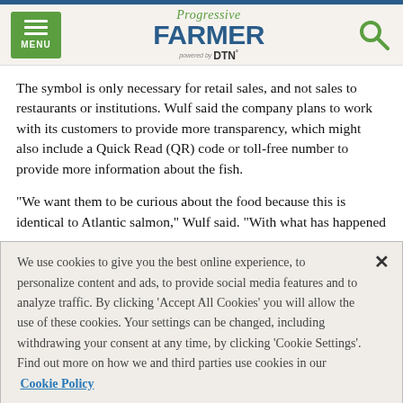Progressive FARMER powered by DTN
The symbol is only necessary for retail sales, and not sales to restaurants or institutions. Wulf said the company plans to work with its customers to provide more transparency, which might also include a Quick Read (QR) code or toll-free number to provide more information about the fish.
"We want them to be curious about the food because this is identical to Atlantic salmon," Wulf said. "With what has happened
We use cookies to give you the best online experience, to personalize content and ads, to provide social media features and to analyze traffic. By clicking 'Accept All Cookies' you will allow the use of these cookies. Your settings can be changed, including withdrawing your consent at any time, by clicking 'Cookie Settings'. Find out more on how we and third parties use cookies in our Cookie Policy
Accept and Close ✕
Your browser settings do not allow cross-site tracking for advertising. Click on this page to allow AdRoll to use cross-site tracking to tailor ads to you. Learn more or opt out of this AdRoll tracking by clicking here. This message only appears once.